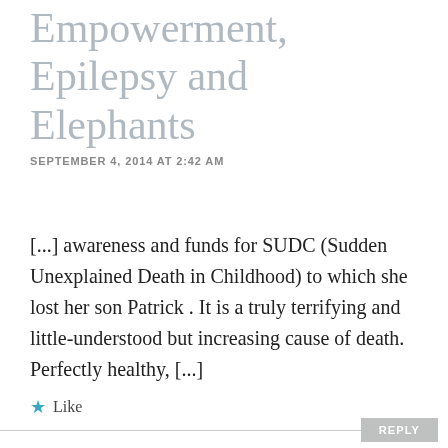Challenge | Empowerment, Epilepsy and Elephants
SEPTEMBER 4, 2014 AT 2:42 AM
[...] awareness and funds for SUDC (Sudden Unexplained Death in Childhood) to which she lost her son Patrick . It is a truly terrifying and little-understood but increasing cause of death. Perfectly healthy, [...]
★ Like
REPLY